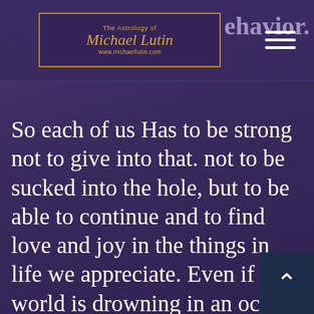The Astrology of Michael Lutin — www.michaellutin.com
…ehavior.
So each of us Has to be strong not to give into that. not to be sucked into the hole, but to be able to continue and to find love and joy in the things in life we appreciate. Even if the world is drowning in an ocean of deceit and duplicity , we all have to see with greater perspective. As a people as a species we are all participating in a change in value system that will affect our businesses, our personal lives and our whole